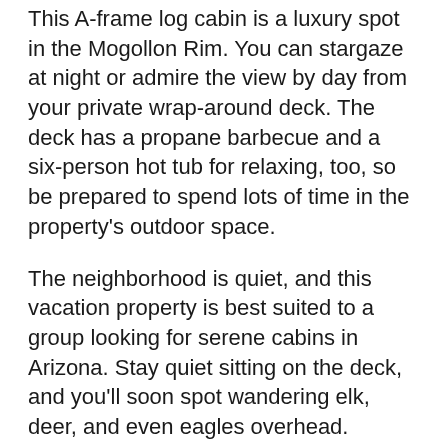This A-frame log cabin is a luxury spot in the Mogollon Rim. You can stargaze at night or admire the view by day from your private wrap-around deck. The deck has a propane barbecue and a six-person hot tub for relaxing, too, so be prepared to spend lots of time in the property's outdoor space.
The neighborhood is quiet, and this vacation property is best suited to a group looking for serene cabins in Arizona. Stay quiet sitting on the deck, and you'll soon spot wandering elk, deer, and even eagles overhead.
Inside, you'll stay warm in winter with a wood-burning fireplace and cozy furnishings. This is one of our most beautifully decorated Arizona cabins, and you can expect a tasteful, warm interior style.